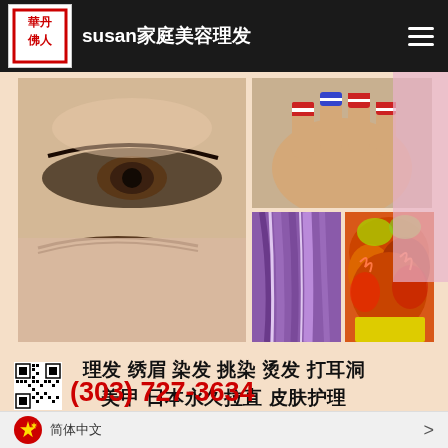susan家庭美容理发
[Figure (photo): Beauty salon photo collage showing: close-up of an eyebrow (left, large), nail art with American flag design (top right), purple straight hair (bottom middle right), colorful orange/yellow/red curly hair (bottom far right)]
理发 绣眉 染发 挑染 烫发 打耳洞 美甲 日本永久拉直 皮肤护理
（离Westminster的HMart韩亚龙超市7分钟）
(303) 727-3634